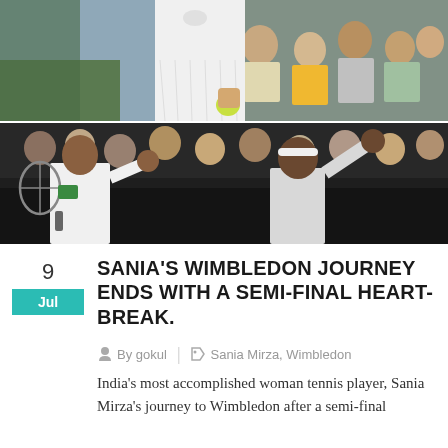[Figure (photo): Tennis player in white Nike dress on grass court, holding a yellow ball, crowd visible in background]
[Figure (photo): Two tennis players on dark court waving to crowd, spectators applauding in background]
SANIA'S WIMBLEDON JOURNEY ENDS WITH A SEMI-FINAL HEART-BREAK.
By gokul | Sania Mirza, Wimbledon
India's most accomplished woman tennis player, Sania Mirza's journey to Wimbledon after a semi-final...